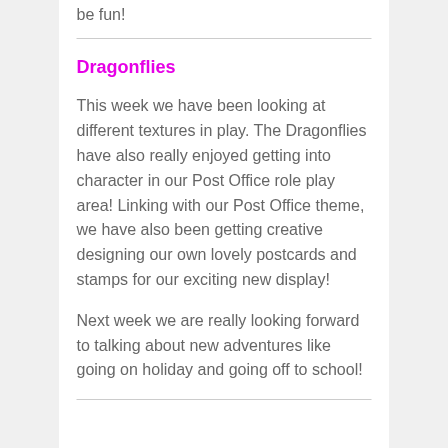be fun!
Dragonflies
This week we have been looking at different textures in play. The Dragonflies have also really enjoyed getting into character in our Post Office role play area! Linking with our Post Office theme, we have also been getting creative designing our own lovely postcards and stamps for our exciting new display!
Next week we are really looking forward to talking about new adventures like going on holiday and going off to school!